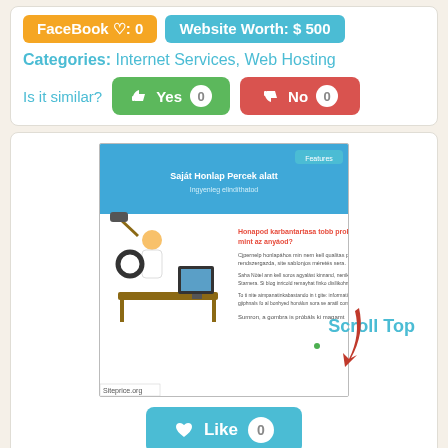Facebook ♡: 0   Website Worth: $ 500
Categories: Internet Services, Web Hosting
Is it similar?   Yes 0   No 0
[Figure (screenshot): Screenshot of a website preview showing a Hungarian web hosting landing page with an illustration of a person smashing a computer with a hammer. Below: Scroll Top label and a red arrow pointing down. Siteprice.org watermark visible.]
Like 0
butorantikolas.shp.hu